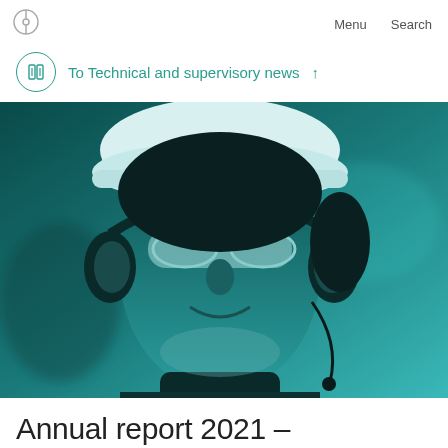Menu   Search
To Technical and supervisory news ↑
[Figure (photo): A woman wearing a white hard hat, safety goggles, and ear protection (headset), smiling. The image has a teal/cyan duotone color treatment. Industrial background.]
Annual report 2021 –